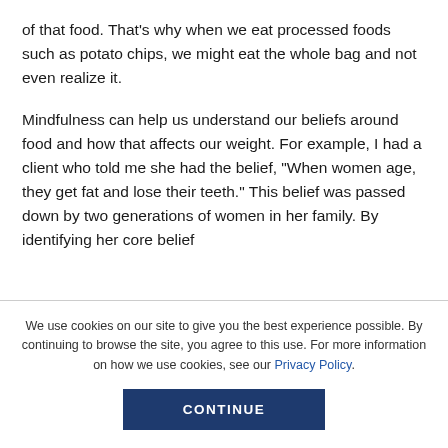of that food. That's why when we eat processed foods such as potato chips, we might eat the whole bag and not even realize it.
Mindfulness can help us understand our beliefs around food and how that affects our weight. For example, I had a client who told me she had the belief, "When women age, they get fat and lose their teeth." This belief was passed down by two generations of women in her family. By identifying her core belief
We use cookies on our site to give you the best experience possible. By continuing to browse the site, you agree to this use. For more information on how we use cookies, see our Privacy Policy.